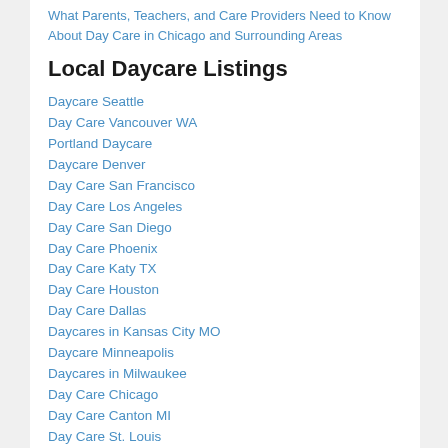What Parents, Teachers, and Care Providers Need to Know About Day Care in Chicago and Surrounding Areas
Local Daycare Listings
Daycare Seattle
Day Care Vancouver WA
Portland Daycare
Daycare Denver
Day Care San Francisco
Day Care Los Angeles
Day Care San Diego
Day Care Phoenix
Day Care Katy TX
Day Care Houston
Day Care Dallas
Daycares in Kansas City MO
Daycare Minneapolis
Daycares in Milwaukee
Day Care Chicago
Day Care Canton MI
Day Care St. Louis
Day Care Indianapolis
Day Care Cincinnati
Day Care Pittsburgh
Daycare in Charlotte NC
Daycares in Atlanta